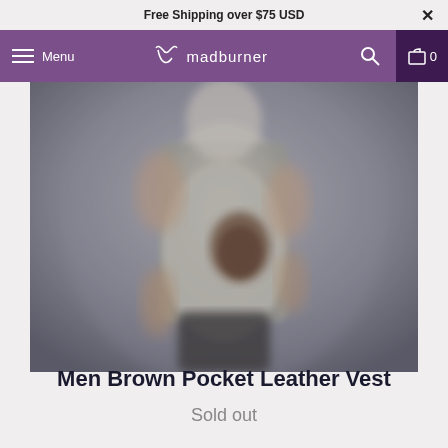Free Shipping over $75 USD
Menu  madburner  0
[Figure (photo): Blurred photo of a man wearing a beige/grey sleeveless vest with a brown leather pocket detail, against a grey background]
Men Brown Pocket Leather Vest
Sold out